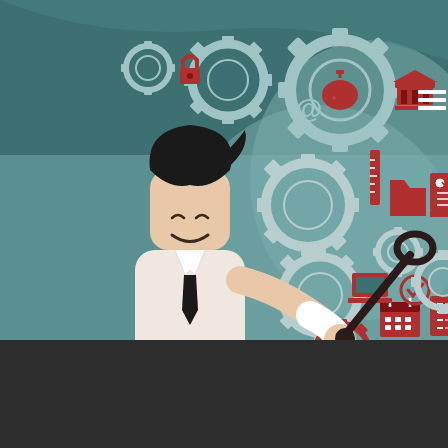[Figure (illustration): Cartoon businessman in white shirt and tie holding a wrench, smiling, surrounded by gear icons and business/technology icons (lock, email, piggy bank, bank building, folder, calendar, checklist, laptop, globe, lightbulb) on a teal background with a light speech-bubble shape]
by MATT BACON Jr.